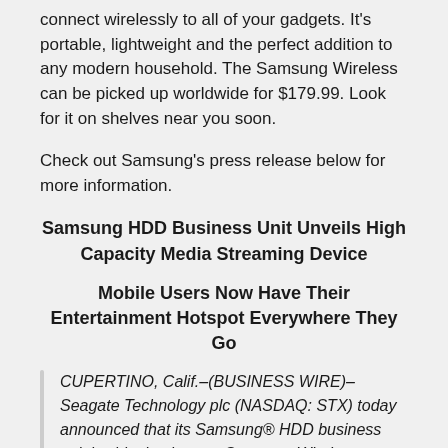connect wirelessly to all of your gadgets. It's portable, lightweight and the perfect addition to any modern household. The Samsung Wireless can be picked up worldwide for $179.99. Look for it on shelves near you soon.
Check out Samsung's press release below for more information.
Samsung HDD Business Unit Unveils High Capacity Media Streaming Device
Mobile Users Now Have Their Entertainment Hotspot Everywhere They Go
CUPERTINO, Calif.–(BUSINESS WIRE)–Seagate Technology plc (NASDAQ: STX) today announced that its Samsung® HDD business unit is shipping its new Samsung Wireless